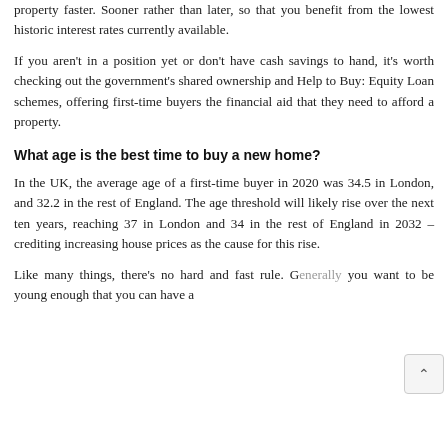property faster. Sooner rather than later, so that you benefit from the lowest historic interest rates currently available.
If you aren't in a position yet or don't have cash savings to hand, it's worth checking out the government's shared ownership and Help to Buy: Equity Loan schemes, offering first-time buyers the financial aid that they need to afford a property.
What age is the best time to buy a new home?
In the UK, the average age of a first-time buyer in 2020 was 34.5 in London, and 32.2 in the rest of England. The age threshold will likely rise over the next ten years, reaching 37 in London and 34 in the rest of England in 2032 – crediting increasing house prices as the cause for this rise.
Like many things, there's no hard and fast rule. Generally you want to be young enough that you can have a